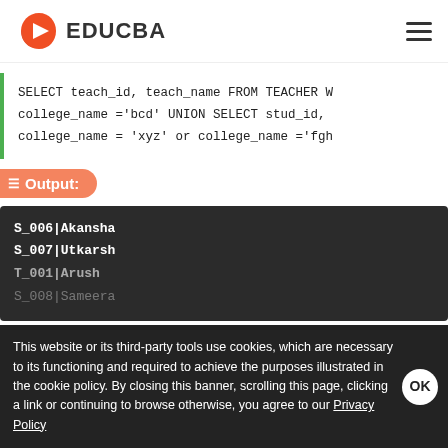EDUCBA
SELECT teach_id, teach_name FROM TEACHER W college_name ='bcd' UNION SELECT stud_id, college_name = 'xyz' or college_name ='fgh
Output:
[Figure (screenshot): Dark terminal output box showing rows: S_006|Akansha, S_007|Utkarsh, T_001|Arush, and more rows partially visible]
This website or its third-party tools use cookies, which are necessary to its functioning and required to achieve the purposes illustrated in the cookie policy. By closing this banner, scrolling this page, clicking a link or continuing to browse otherwise, you agree to our Privacy Policy